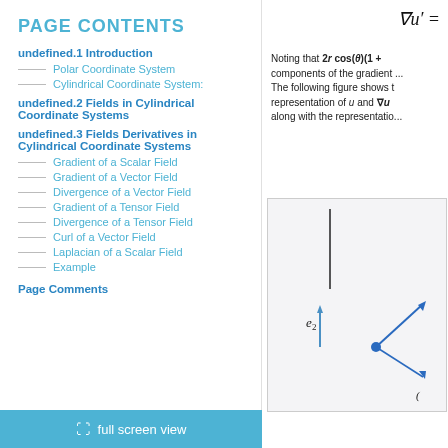PAGE CONTENTS
undefined.1 Introduction
Polar Coordinate System
Cylindrical Coordinate System:
undefined.2 Fields in Cylindrical Coordinate Systems
undefined.3 Fields Derivatives in Cylindrical Coordinate Systems
Gradient of a Scalar Field
Gradient of a Vector Field
Divergence of a Vector Field
Gradient of a Tensor Field
Divergence of a Tensor Field
Curl of a Vector Field
Laplacian of a Scalar Field
Example
Page Comments
Noting that 2r cos(θ)(1 + ... components of the gradient ... The following figure shows the representation of u and ∇u along with the representatio...
[Figure (illustration): Mathematical diagram showing vectors e2 and basis vector arrows in a coordinate system, with a blue dot and arrows indicating vector directions.]